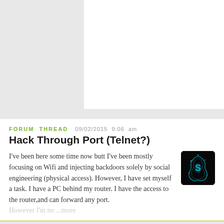[Figure (screenshot): Top white content area placeholder on grey background]
FORUM THREAD   09/02/2015 9:06 am
Hack Through Port (Telnet?)
I've been here some time now butt I've been mostly focusing on Wifi and injecting backdoors solely by social engineering (physical access). However, I have set myself a task. I have a PC behind my router. I have the access to the router,and can forward any port. However I'm no ...more